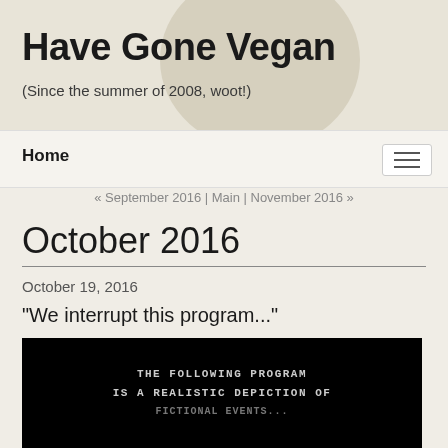Have Gone Vegan
(Since the summer of 2008, woot!)
Home
« September 2016 | Main | November 2016 »
October 2016
October 19, 2016
"We interrupt this program..."
[Figure (screenshot): Black background image with white text reading: THE FOLLOWING PROGRAM IS A REALISTIC DEPICTION OF (partially cut off)]